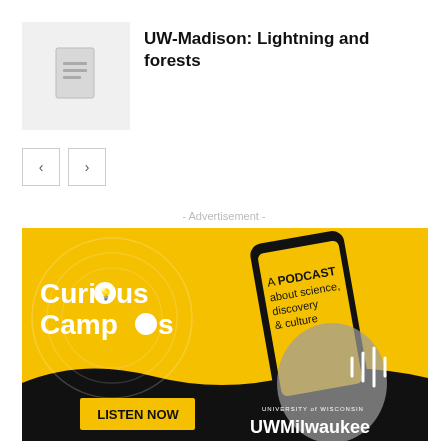[Figure (illustration): Thumbnail placeholder image with a document icon on light gray background]
UW-Madison: Lightning and forests
[Figure (illustration): Navigation buttons: left arrow and right arrow]
- Advertisement -
[Figure (illustration): Curious Campus podcast advertisement banner. Yellow and black background with a hand holding a smartphone. Text reads 'Curious Campus - A PODCAST about science, discovery & culture'. Button says 'LISTEN NOW'. University of Wisconsin Milwaukee logo at bottom right.]